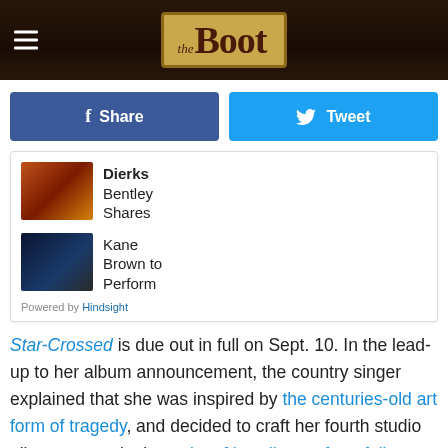the Boot
Share
Tweet
Dierks Bentley Shares
Kane Brown to Perform
Powered by Hindsight
Star-Crossed is due out in full on Sept. 10. In the lead-up to her album announcement, the country singer explained that she was inspired by the centuries-old art form of tragedy, and decided to craft her fourth studio album as one in the wake of her divorce from fellow artist Ruston Kelly.